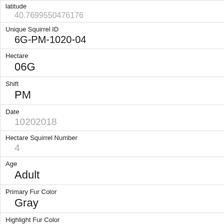| latitude | 40.7699550476176 |
| Unique Squirrel ID | 6G-PM-1020-04 |
| Hectare | 06G |
| Shift | PM |
| Date | 10202018 |
| Hectare Squirrel Number | 4 |
| Age | Adult |
| Primary Fur Color | Gray |
| Highlight Fur Color |  |
| Combination of Primary and Highlight Color | Gray+ |